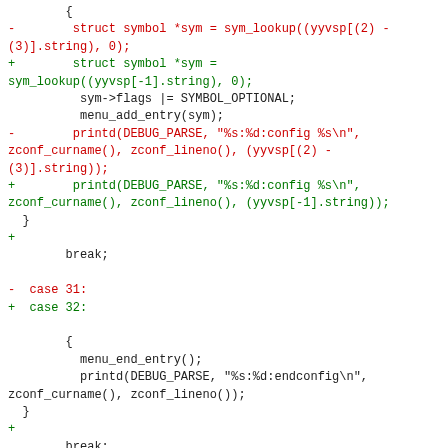[Figure (other): Code diff snippet showing changes to C source code with red (removed) and green (added) lines. Contains struct symbol pointer assignments, sym->flags, menu_add_entry, printd calls, break statements, and case labels 31/32 and 32/33.]